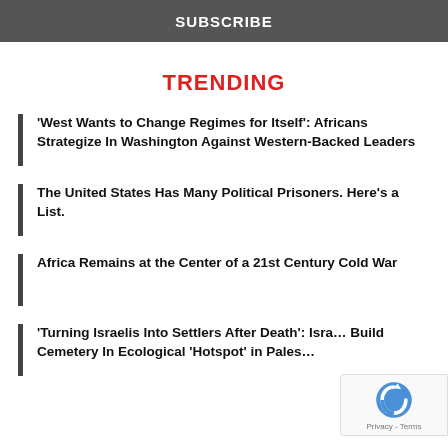SUBSCRIBE
TRENDING
'West Wants to Change Regimes for Itself': Africans Strategize In Washington Against Western-Backed Leaders
The United States Has Many Political Prisoners. Here’s a List.
Africa Remains at the Center of a 21st Century Cold War
'Turning Israelis Into Settlers After Death': Isra… Build Cemetery In Ecological ‘Hotspot’ in Pales…